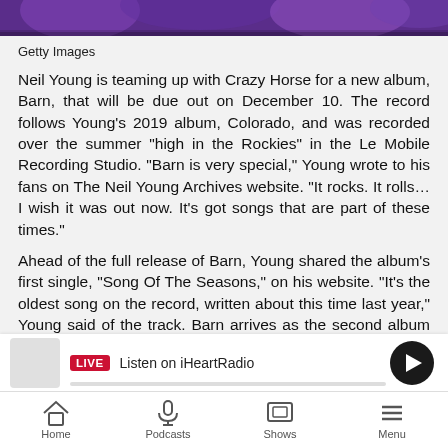[Figure (photo): Purple/violet concert stage lighting photo strip at top of page]
Getty Images
Neil Young is teaming up with Crazy Horse for a new album, Barn, that will be due out on December 10. The record follows Young's 2019 album, Colorado, and was recorded over the summer "high in the Rockies" in the Le Mobile Recording Studio. "Barn is very special," Young wrote to his fans on The Neil Young Archives website. "It rocks. It rolls… I wish it was out now. It's got songs that are part of these times."
Ahead of the full release of Barn, Young shared the album's first single, "Song Of The Seasons," on his website. "It's the oldest song on the record, written about this time last year," Young said of the track. Barn arrives as the second album Young has released with Crazy Horse since guitarist Frank "Poncho" Sampedro retired in 2014. Nils Lofgren has been acting as the band's guitarist since
[Figure (screenshot): iHeartRadio LIVE player bar with play button and progress bar]
Home   Podcasts   Shows   Menu